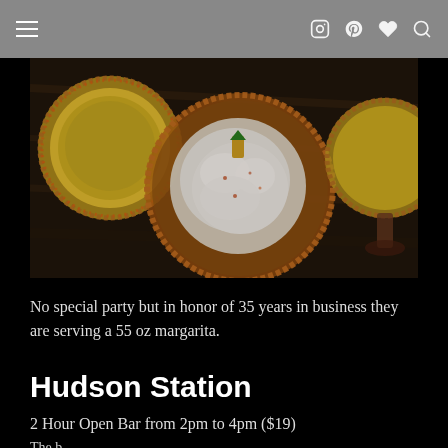≡  [instagram] [pinterest] [heart] [search]
[Figure (photo): Overhead view of cocktail glasses with spiced/salted rims, filled with margaritas, garnished with pineapple, on a dark wooden surface]
No special party but in honor of 35 years in business they are serving a 55 oz margarita.
Hudson Station
2 Hour Open Bar from 2pm to 4pm ($19)
The b...